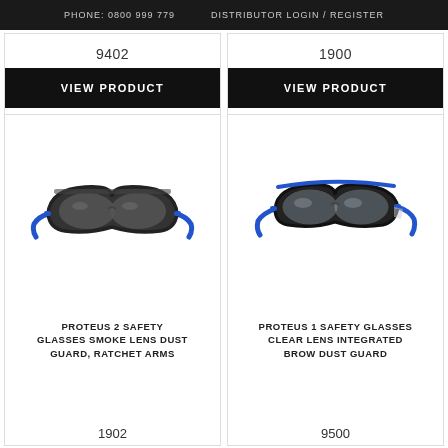PHONE: 0800 999 779   DISTRIBUTOR LOGIN / REGISTER
9402
VIEW PRODUCT
1900
VIEW PRODUCT
[Figure (photo): Safety glasses with black frame and blue arms, smoke/dark lens, dust guard - Proteus 2]
PROTEUS 2 SAFETY GLASSES SMOKE LENS DUST GUARD, RATCHET ARMS
1902
[Figure (photo): Safety glasses with black frame and blue arms, clear lens, integrated brow dust guard - Proteus 1]
PROTEUS 1 SAFETY GLASSES CLEAR LENS INTEGRATED BROW DUST GUARD
9500